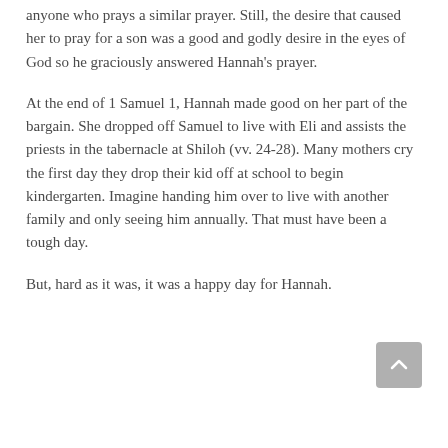anyone who prays a similar prayer. Still, the desire that caused her to pray for a son was a good and godly desire in the eyes of God so he graciously answered Hannah's prayer.
At the end of 1 Samuel 1, Hannah made good on her part of the bargain. She dropped off Samuel to live with Eli and assists the priests in the tabernacle at Shiloh (vv. 24-28). Many mothers cry the first day they drop their kid off at school to begin kindergarten. Imagine handing him over to live with another family and only seeing him annually. That must have been a tough day.
But, hard as it was, it was a happy day for Hannah.